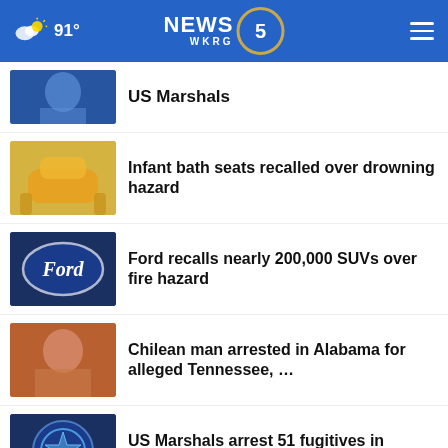NEWS 5 WKRG — 91°
US Marshals
Infant bath seats recalled over drowning hazard
Ford recalls nearly 200,000 SUVs over fire hazard
Chilean man arrested in Alabama for alleged Tennessee, …
US Marshals arrest 51 fugitives in Mobile area sweep
More Stories ›